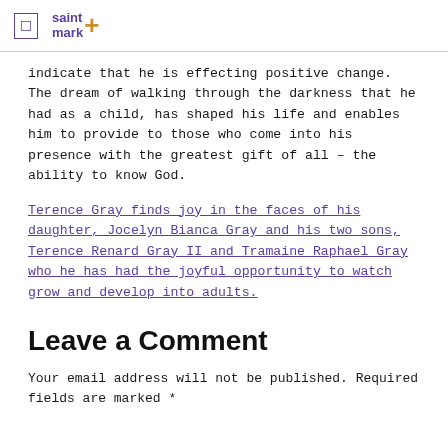saint mark
indicate that he is effecting positive change. The dream of walking through the darkness that he had as a child, has shaped his life and enables him to provide to those who come into his presence with the greatest gift of all – the ability to know God.
Terence Gray finds joy in the faces of his daughter, Jocelyn Bianca Gray and his two sons, Terence Renard Gray II and Tramaine Raphael Gray who he has had the joyful opportunity to watch grow and develop into adults.
Leave a Comment
Your email address will not be published. Required fields are marked *